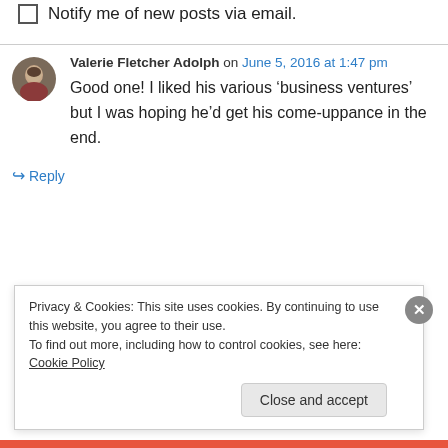Notify me of new posts via email.
Valerie Fletcher Adolph on June 5, 2016 at 1:47 pm
Good one! I liked his various ‘business ventures’ but I was hoping he’d get his come-uppance in the end.
↪ Reply
Privacy & Cookies: This site uses cookies. By continuing to use this website, you agree to their use.
To find out more, including how to control cookies, see here: Cookie Policy
Close and accept